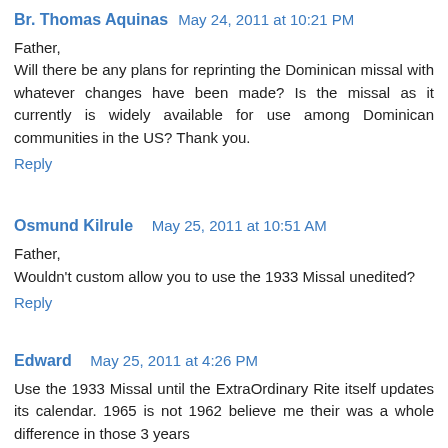Br. Thomas Aquinas  May 24, 2011 at 10:21 PM
Father,
Will there be any plans for reprinting the Dominican missal with whatever changes have been made? Is the missal as it currently is widely available for use among Dominican communities in the US? Thank you.
Reply
Osmund Kilrule   May 25, 2011 at 10:51 AM
Father,
Wouldn't custom allow you to use the 1933 Missal unedited?
Reply
Edward  May 25, 2011 at 4:26 PM
Use the 1933 Missal until the ExtraOrdinary Rite itself updates its calendar. 1965 is not 1962 believe me their was a whole difference in those 3 years